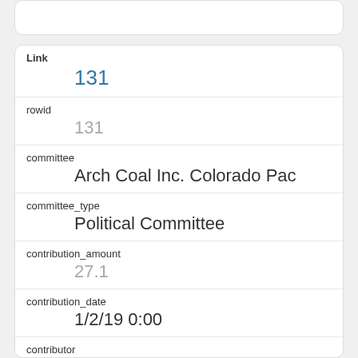| Field | Value |
| --- | --- |
| Link | 131 |
| rowid | 131 |
| committee | Arch Coal Inc. Colorado Pac |
| committee_type | Political Committee |
| contribution_amount | 27.1 |
| contribution_date | 1/2/19 0:00 |
| contributor | Shannon L Long |
| city | Paonia |
| state | CO |